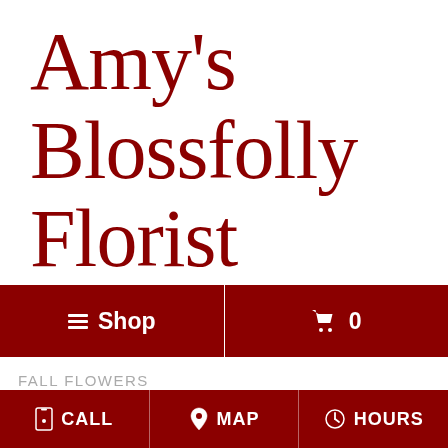Amy's Blossfolly Florist
≡ Shop   🛒 0
FALL FLOWERS
📱 CALL   📍 MAP   🕐 HOURS